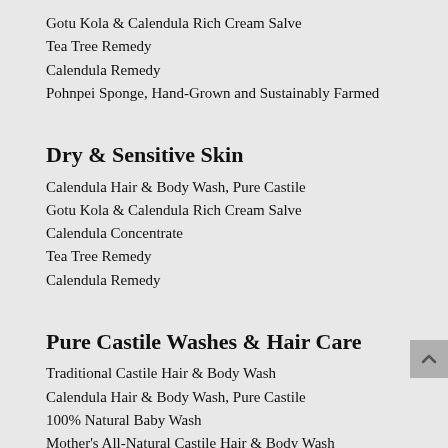Gotu Kola & Calendula Rich Cream Salve
Tea Tree Remedy
Calendula Remedy
Pohnpei Sponge, Hand-Grown and Sustainably Farmed
Dry & Sensitive Skin
Calendula Hair & Body Wash, Pure Castile
Gotu Kola & Calendula Rich Cream Salve
Calendula Concentrate
Tea Tree Remedy
Calendula Remedy
Pure Castile Washes & Hair Care
Traditional Castile Hair & Body Wash
Calendula Hair & Body Wash, Pure Castile
100% Natural Baby Wash
Mother's All-Natural Castile Hair & Body Wash